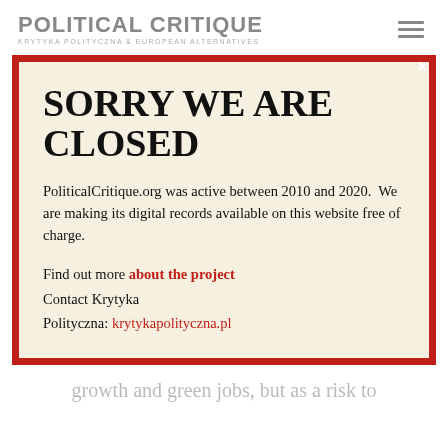POLITICAL CRITIQUE KRYTYKA POLITYCZNA & EUROPEAN ALTERNATIVES
SORRY WE ARE CLOSED
PoliticalCritique.org was active between 2010 and 2020.  We are making its digital records available on this website free of charge.
Find out more about the project
Contact Krytyka Polityczna: krytykapolityczna.pl
growth and green jobs, but as a risk to